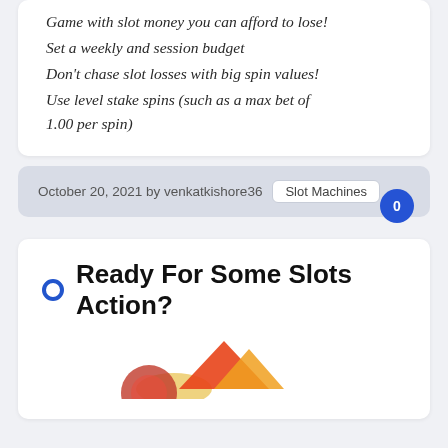Game with slot money you can afford to lose!
Set a weekly and session budget
Don't chase slot losses with big spin values!
Use level stake spins (such as a max bet of 1.00 per spin)
October 20, 2021 by venkatkishore36
Slot Machines
0
Ready For Some Slots Action?
[Figure (photo): Partial view of slot machine or casino-related image, cropped at bottom of page]